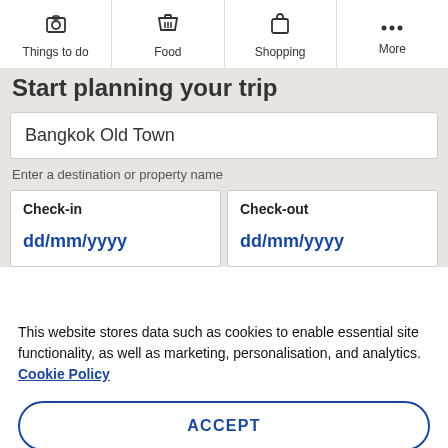Things to do | Food | Shopping | More
Start planning your trip
Bangkok Old Town
Enter a destination or property name
Check-in
dd/mm/yyyy
Check-out
dd/mm/yyyy
This website stores data such as cookies to enable essential site functionality, as well as marketing, personalisation, and analytics. Cookie Policy
ACCEPT